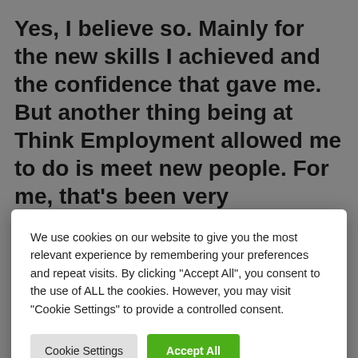Yes, I believe so. Mainly for the new skills I achieved and the confidence that gave me. But another thing being at Think Employment allowed me to do is meet new people. For me, that's been very
We use cookies on our website to give you the most relevant experience by remembering your preferences and repeat visits. By clicking "Accept All", you consent to the use of ALL the cookies. However, you may visit "Cookie Settings" to provide a controlled consent.
I left school in 1983 and so the qualifications I gained don't count for anything anymore. Even though I did achieve some CSEs back then, I needed to update my CV. Thanks to the Engli... M... IT... Se... S... E...